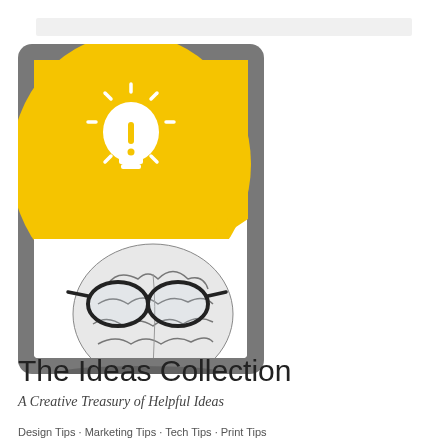[Figure (illustration): Book cover illustration showing a tablet/frame with a yellow semicircle at top containing a white lightbulb icon with exclamation mark and rays, and below it a detailed pencil drawing of a brain wearing thick-rimmed glasses, on a gray background.]
The Ideas Collection
A Creative Treasury of Helpful Ideas
Design Tips · Marketing Tips · Tech Tips · Print Tips